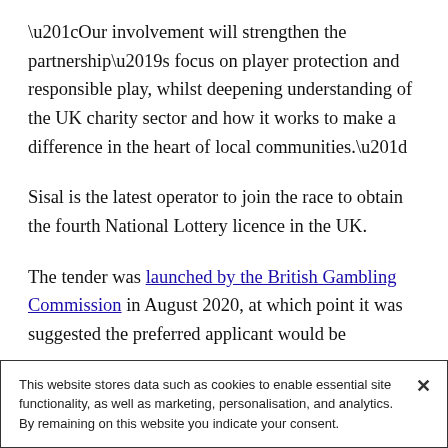“Our involvement will strengthen the partnership’s focus on player protection and responsible play, whilst deepening understanding of the UK charity sector and how it works to make a difference in the heart of local communities.”
Sisal is the latest operator to join the race to obtain the fourth National Lottery licence in the UK.
The tender was launched by the British Gambling Commission in August 2020, at which point it was suggested the preferred applicant would be
This website stores data such as cookies to enable essential site functionality, as well as marketing, personalisation, and analytics. By remaining on this website you indicate your consent.